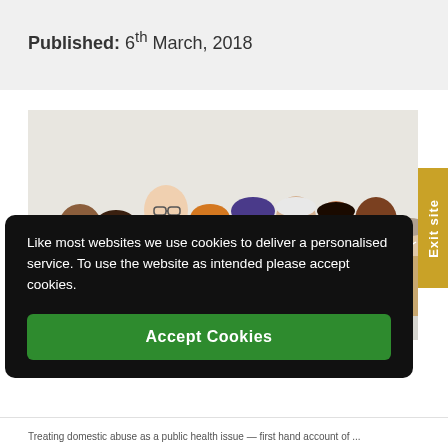Published: 6th March, 2018
[Figure (photo): Group photo of diverse smiling people standing against a light gray background]
Exit site
Like most websites we use cookies to deliver a personalised service. To use the website as intended please accept cookies.
Accept Cookies